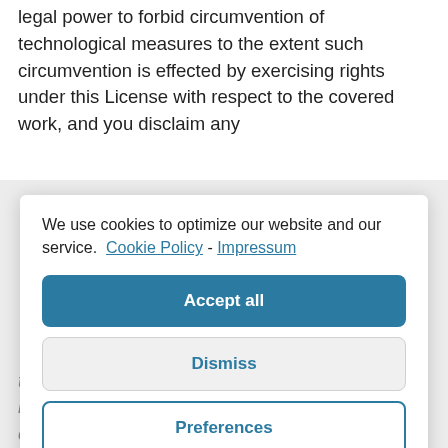legal power to forbid circumvention of technological measures to the extent such circumvention is effected by exercising rights under this License with respect to the covered work, and you disclaim any
We use cookies to optimize our website and our service.  Cookie Policy  -  Impressum
Accept all
Dismiss
Preferences
the absence of any warranty, and give all recipients a copy of this license, provide with...